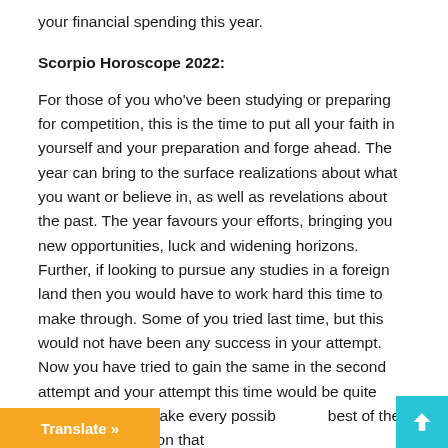your financial spending this year.
Scorpio Horoscope 2022:
For those of you who've been studying or preparing for competition, this is the time to put all your faith in yourself and your preparation and forge ahead. The year can bring to the surface realizations about what you want or believe in, as well as revelations about the past. The year favours your efforts, bringing you new opportunities, luck and widening horizons. Further, if looking to pursue any studies in a foreign land then you would have to work hard this time to make through. Some of you tried last time, but this would not have been any success in your attempt. Now you have tried to gain the same in the second attempt and your attempt this time would be quite successful. So, make every possib best of the effort or preparation that